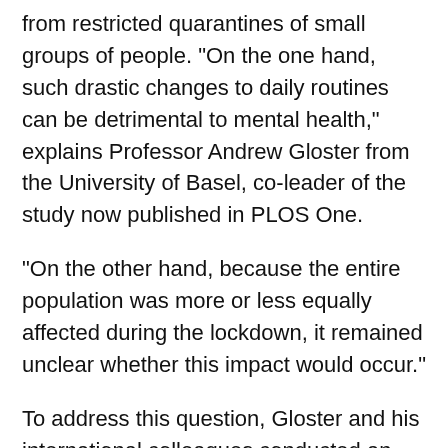from restricted quarantines of small groups of people. "On the one hand, such drastic changes to daily routines can be detrimental to mental health," explains Professor Andrew Gloster from the University of Basel, co-leader of the study now published in PLOS One.
"On the other hand, because the entire population was more or less equally affected during the lockdown, it remained unclear whether this impact would occur."
To address this question, Gloster and his international colleagues conducted an online survey in 18 languages. Almost 10,000 people from 78 countries took part, providing information about their mental health and overall situation during the Covid-19 lockdown.
One in ten respondents reported low levels of mental health – including negative affect, stress, depressive behaviours and a pessimistic view of society. Another 50 per cent had only moderate mental health, which has